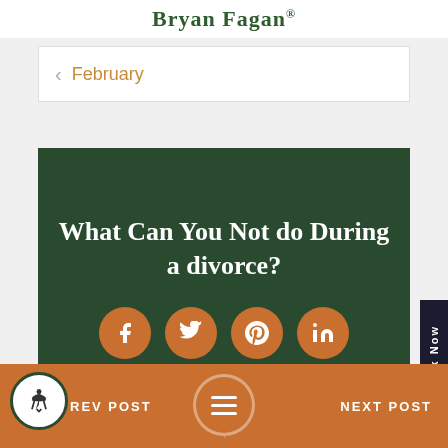Bryan Fagan
February
What Can You Not do During a divorce?
[Figure (other): Social media share buttons: Facebook, Twitter, Pinterest, LinkedIn — orange circles with white icons]
PREV POST | NEXT POST